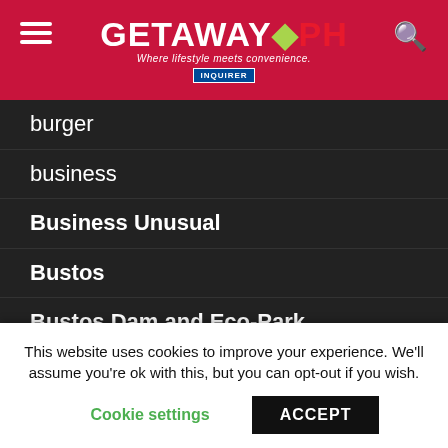GETAWAY PH — Where lifestyle meets convenience. | INQUIRER
burger
business
Business Unusual
Bustos
Bustos Dam and Eco-Park
Busuanga Cup 2022
Busuangua
butter
Butuan
Buy 2 Get One promo
This website uses cookies to improve your experience. We'll assume you're ok with this, but you can opt-out if you wish. Cookie settings | ACCEPT